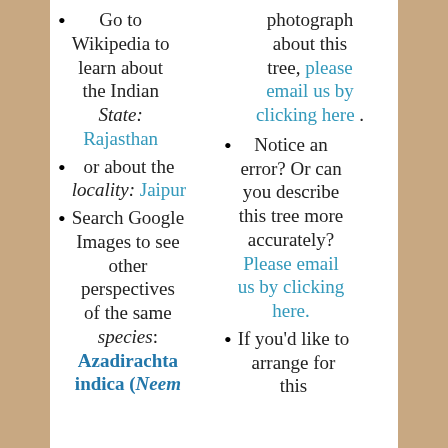Go to Wikipedia to learn about the Indian State: Rajasthan
or about the locality: Jaipur
Search Google Images to see other perspectives of the same species: Azadirachta indica (Neem
photograph about this tree, please email us by clicking here .
Notice an error? Or can you describe this tree more accurately? Please email us by clicking here.
If you'd like to arrange for this